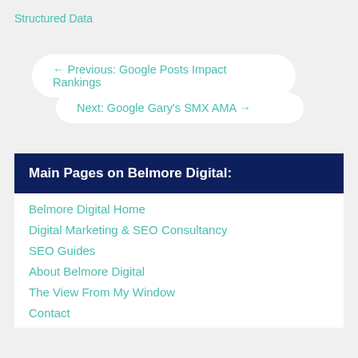Structured Data
← Previous: Google Posts Impact Rankings
Next: Google Gary's SMX AMA →
Main Pages on Belmore Digital:
Belmore Digital Home
Digital Marketing & SEO Consultancy
SEO Guides
About Belmore Digital
The View From My Window
Contact